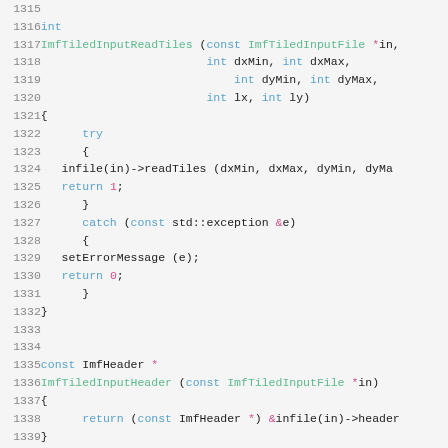[Figure (screenshot): Source code listing in C showing functions ImfTiledInputReadTiles, ImfTiledInputHeader, and ImfTiledInputChannels with syntax highlighting. Line numbers 1315-1344 visible.]